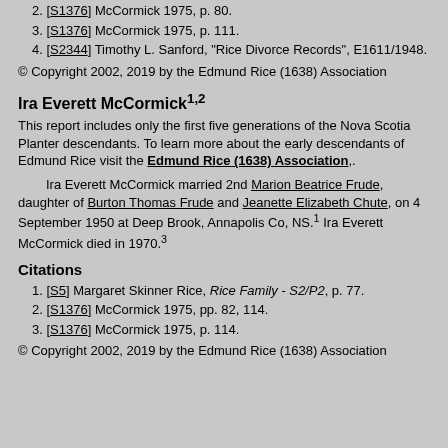2. [S1376] McCormick 1975, p. 80.
3. [S1376] McCormick 1975, p. 111.
4. [S2344] Timothy L. Sanford, "Rice Divorce Records", E1611/1948.
© Copyright 2002, 2019 by the Edmund Rice (1638) Association
Ira Everett McCormick¹˒²
This report includes only the first five generations of the Nova Scotia Planter descendants. To learn more about the early descendants of Edmund Rice visit the Edmund Rice (1638) Association,.
Ira Everett McCormick married 2nd Marion Beatrice Frude, daughter of Burton Thomas Frude and Jeanette Elizabeth Chute, on 4 September 1950 at Deep Brook, Annapolis Co, NS.¹ Ira Everett McCormick died in 1970.³
Citations
1. [S5] Margaret Skinner Rice, Rice Family - S2/P2, p. 77.
2. [S1376] McCormick 1975, pp. 82, 114.
3. [S1376] McCormick 1975, p. 114.
© Copyright 2002, 2019 by the Edmund Rice (1638) Association